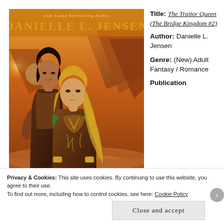[Figure (illustration): Book cover for 'The Traitor Queen (The Bridge Kingdom #2)' by Danielle L. Jensen. Shows a dark-haired male figure and a blonde female figure in fantasy armor against an orange desert landscape with rocky formations. Text at top reads 'USA Today Bestselling Author' and 'DANIELLE L. JENSEN' in gold letters.]
Title: The Traitor Queen (The Bridge Kingdom #2)
Author: Danielle L. Jensen
Genre: (New) Adult Fantasy / Romance
Publication
Privacy & Cookies: This site uses cookies. By continuing to use this website, you agree to their use.
To find out more, including how to control cookies, see here: Cookie Policy
Close and accept